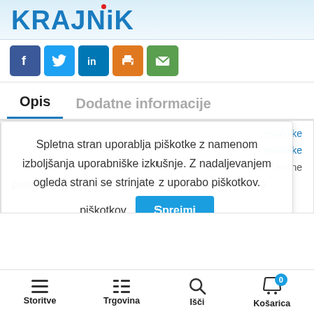[Figure (logo): KRAJNiK logo in blue bold text with red dot over the i]
[Figure (infographic): Social media share icons: Facebook (dark blue), Twitter (light blue), LinkedIn (medium blue), Print (orange), Email (green)]
Opis
Dodatne informacije
Spletna stran uporablja piškotke z namenom izboljšanja uporabniške izkušnje. Z nadaljevanjem ogleda strani se strinjate z uporabo piškotkov. Sprejmi
jevalnike
jevalnike
evane
programske opreme. 8dBi Omni-directional antena poveča